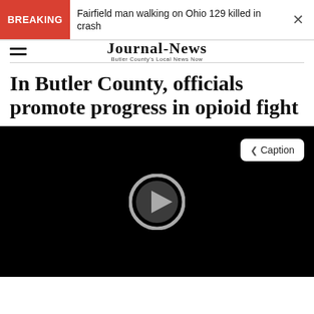BREAKING — Fairfield man walking on Ohio 129 killed in crash
[Figure (logo): Journal-News logo with tagline 'Butler County's Local News Now']
In Butler County, officials promote progress in opioid fight
[Figure (screenshot): Black video player thumbnail with circular play button and a Caption button in the top right corner]